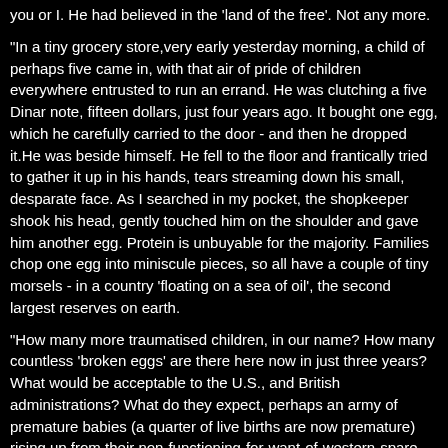you or I. He had believed in the 'land of the free'. Not any more.
"In a tiny grocery store,very early yesterday morning, a child of perhaps five came in, with that air of pride of children everywhere entrusted to run an errand. He was clutching a five Dinar note, fifteen dollars, just four years ago. It bought one egg, which he carefully carried to the door - and then he dropped it.He was beside himself. He fell to the floor and frantically tried to gather it up in his hands, tears streaming down his small, desparate face. As I searched in my pocket, the shopkeeper shook his head, gently touched him on the shoulder and gave him another egg. Protein is unbuyable for the majority. Families chop one egg into miniscule pieces, so all have a couple of tiny morsels - in a country 'floating on a sea of oil', the second largest reserves on earth.
"How many more traumatised children, in our name? How many countless 'broken eggs' are there here now in just three years? What would be acceptable to the U.S., and British administrations? What do they expect, perhaps an army of premature babies (a quarter of live births are now premature) rising up from their non-functioning-for-want-of-western-spare-parts-incubators, to overthrow Saddam Hussein?